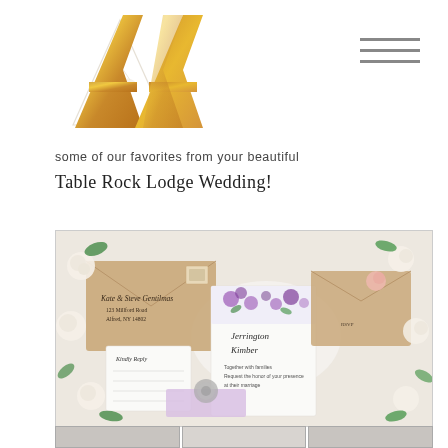[Figure (logo): AA double-A logo in gold gradient with decorative floral/leaf triangle motif behind the letters]
[Figure (other): Hamburger menu icon — three horizontal dark grey lines stacked]
some of our favorites from your beautiful Table Rock Lodge Wedding!
[Figure (photo): Flat lay photo of wedding stationery suite: kraft paper envelopes, white floral invitation with purple flowers, calligraphy-addressed envelope, RSVP card, lavender envelope, surrounded by white roses and greenery on a white surface]